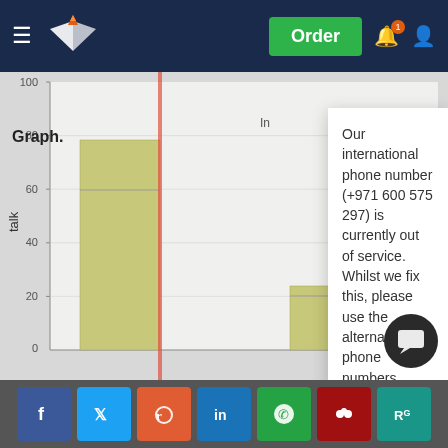Order
Graph.
Our international phone number (+971 600 575 297) is currently out of service. Whilst we fix this, please use the alternative phone numbers provided on the contact page, message through your customer account or click the WhatsApp button from your mobile (Monday – Friday 9am – 5pm, Saturday 10am – 6pm UK time).
August 20, 2022
[Figure (bar-chart): Partially visible bar chart with y-axis labeled 'talk' and values visible around 20, 40, 60, 80, 100. Bars are olive/yellow-green colored.]
Social share buttons: Facebook, Twitter, Reddit, LinkedIn, WhatsApp, Mendeley, ResearchGate